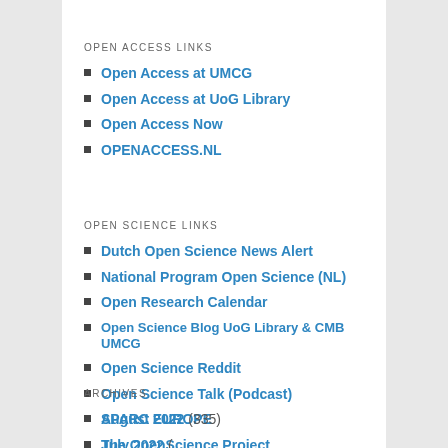OPEN ACCESS LINKS
Open Access at UMCG
Open Access at UoG Library
Open Access Now
OPENACCESS.NL
OPEN SCIENCE LINKS
Dutch Open Science News Alert
National Program Open Science (NL)
Open Research Calendar
Open Science Blog UoG Library & CMB UMCG
Open Science Reddit
Open Science Talk (Podcast)
SPARC EUROPE
The OpenScience Project
The Scholarly Kitchen
ARCHIVES
August 2022 (335)
July 2022 (...)